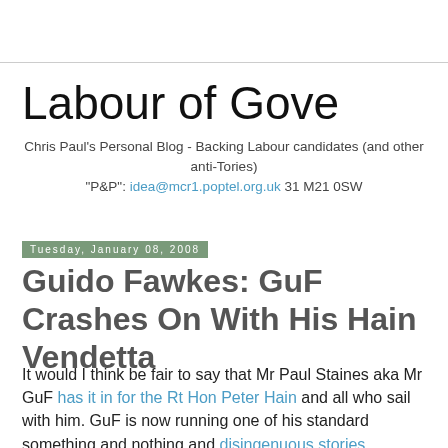Labour of Gove
Chris Paul's Personal Blog - Backing Labour candidates (and other anti-Tories)
"P&P": idea@mcr1.poptel.org.uk 31 M21 0SW
Tuesday, January 08, 2008
Guido Fawkes: GuF Crashes On With His Hain Vendetta
It would I think be fair to say that Mr Paul Staines aka Mr GuF has it in for the Rt Hon Peter Hain and all who sail with him. GuF is now running one of his standard something and nothing and disingenuous stories.